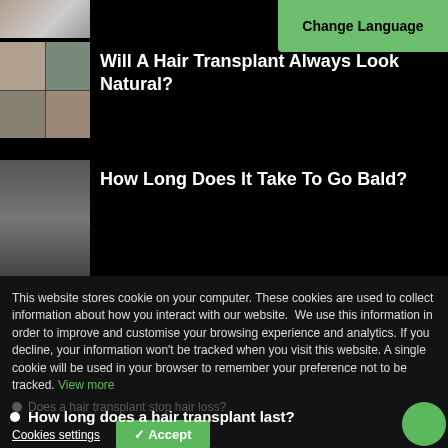[Figure (photo): Partial view of a person's face at top left]
[Figure (other): Green Change Language button top right]
[Figure (photo): Collage of four male faces showing hair transplant results]
Will A Hair Transplant Always Look Natural?
[Figure (photo): Photo of a bald young man with a beard]
How Long Does It Take To Go Bald?
Recent Articles
This website stores cookie on your computer. These cookies are used to collect information about how you interact with our website.  We use this information in order to improve and customise your browsing experience and analytics. If you decline, your information won't be tracked when you visit this website. A single cookie will be used in your browser to remember your preference not to be tracked. View more
Does a hair transplant stop hair loss?
How long does a hair transplant last?